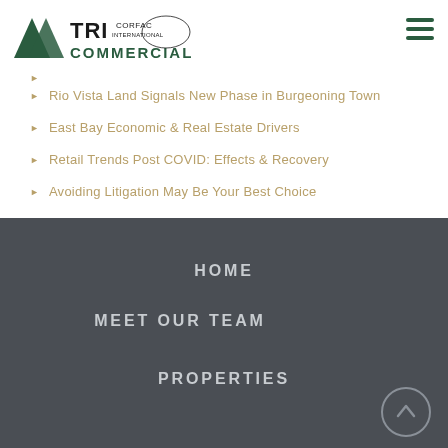[Figure (logo): TRI Commercial / CORFAC International logo with green triangular roof shapes and bold text]
Rio Vista Land Signals New Phase in Burgeoning Town
East Bay Economic & Real Estate Drivers
Retail Trends Post COVID: Effects & Recovery
Avoiding Litigation May Be Your Best Choice
HOME
MEET OUR TEAM
PROPERTIES